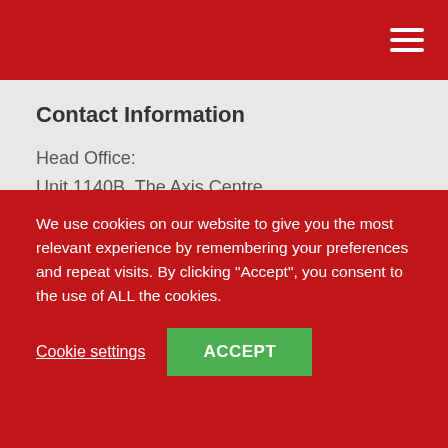Contact Information
Head Office:
Unit 1140B, The Axis Centre,
Cleeve Road, Leatherhead,
Surrey KT22 7RD
Tel: 01737 363222
Privacy Policy
Safeguarding Policy
We use cookies on our website to give you the most relevant experience by remembering your preferences and repeat visits. By clicking “Accept”, you consent to the use of ALL the cookies.
Cookie settings
ACCEPT